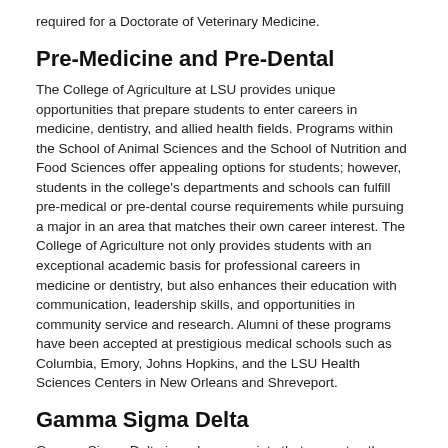required for a Doctorate of Veterinary Medicine.
Pre-Medicine and Pre-Dental
The College of Agriculture at LSU provides unique opportunities that prepare students to enter careers in medicine, dentistry, and allied health fields. Programs within the School of Animal Sciences and the School of Nutrition and Food Sciences offer appealing options for students; however, students in the college's departments and schools can fulfill pre-medical or pre-dental course requirements while pursuing a major in an area that matches their own career interest. The College of Agriculture not only provides students with an exceptional academic basis for professional careers in medicine or dentistry, but also enhances their education with communication, leadership skills, and opportunities in community service and research. Alumni of these programs have been accepted at prestigious medical schools such as Columbia, Emory, Johns Hopkins, and the LSU Health Sciences Centers in New Orleans and Shreveport.
Gamma Sigma Delta
Gamma Sigma Delta is an honor society that promotes the advancement of all disciplines associated with agriculture and